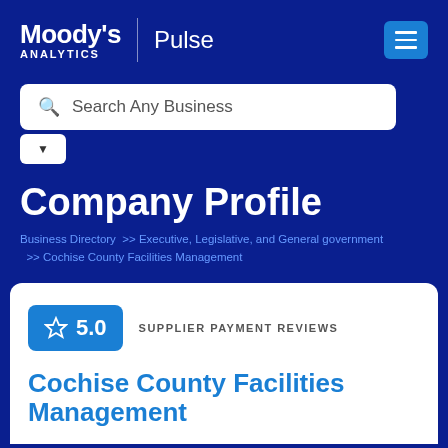Moody's Analytics | Pulse
[Figure (screenshot): Search bar with placeholder text 'Search Any Business' and a dropdown stub below it]
Company Profile
Business Directory >> Executive, Legislative, and General government >> Cochise County Facilities Management
[Figure (infographic): Rating badge showing star icon and 5.0 score labeled SUPPLIER PAYMENT REVIEWS]
Cochise County Facilities Management